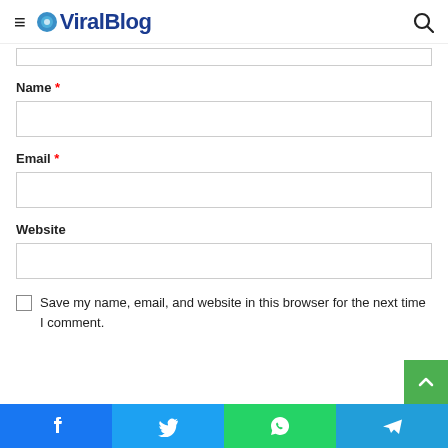ViralBlog
Name *
Email *
Website
Save my name, email, and website in this browser for the next time I comment.
Facebook | Twitter | WhatsApp | Telegram